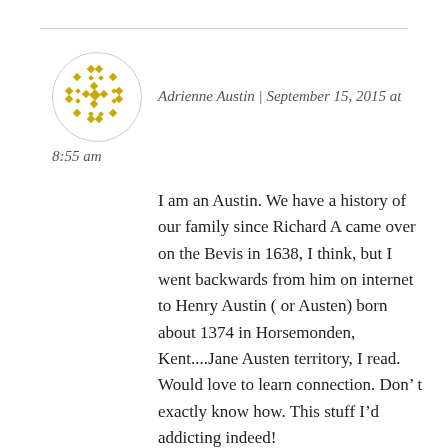[Figure (logo): Gold/yellow geometric quilt-pattern logo inside a circle]
Adrienne Austin | September 15, 2015 at 8:55 am
I am an Austin. We have a history of our family since Richard A came over on the Bevis in 1638, I think, but I went backwards from him on internet to Henry Austin ( or Austen) born about 1374 in Horsemonden, Kent....Jane Austen territory, I read. Would love to learn connection. Don’ t exactly know how. This stuff I’d addicting indeed!
I love to write and my father was a journalist and novelist, he was always